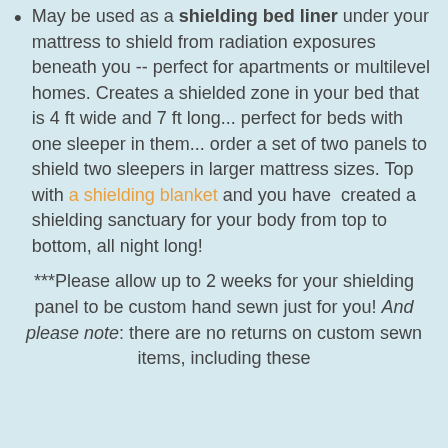May be used as a shielding bed liner under your mattress to shield from radiation exposures beneath you -- perfect for apartments or multilevel homes.  Creates a shielded zone in your bed that is 4 ft wide and 7 ft long... perfect for beds with one sleeper in them... order a set of two panels to shield two sleepers in larger mattress sizes.  Top with a shielding blanket and you have  created a shielding sanctuary for your body from top to bottom, all night long!
***Please allow up to 2 weeks for your shielding panel to be custom hand sewn just for you!  And please note: there are no returns on custom sewn items, including these